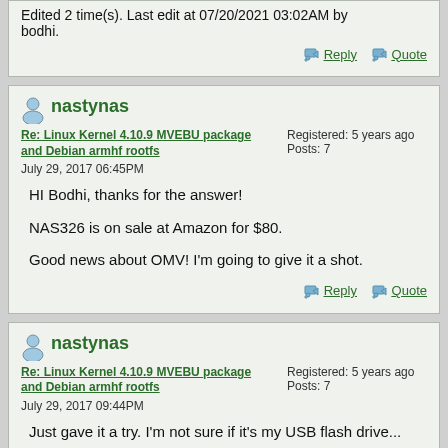Edited 2 time(s). Last edit at 07/20/2021 03:02AM by bodhi.
Reply  Quote
nastynas
Re: Linux Kernel 4.10.9 MVEBU package and Debian armhf rootfs
July 29, 2017 06:45PM
Registered: 5 years ago
Posts: 7
HI Bodhi, thanks for the answer!

NAS326 is on sale at Amazon for $80.

Good news about OMV! I'm going to give it a shot.
Reply  Quote
nastynas
Re: Linux Kernel 4.10.9 MVEBU package and Debian armhf rootfs
July 29, 2017 09:44PM
Registered: 5 years ago
Posts: 7
Just gave it a try. I'm not sure if it's my USB flash drive...